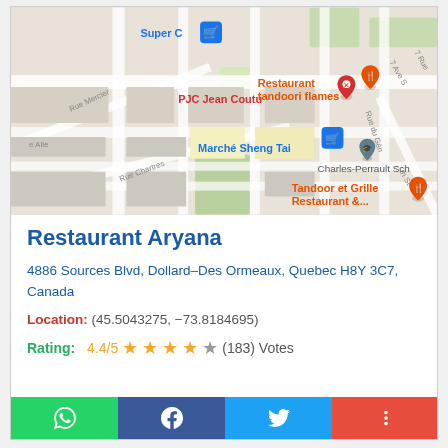[Figure (map): Google Maps screenshot showing area near Restaurant Aryana in Dollard-Des Ormeaux, Quebec. Visible landmarks: Super C (grocery, blue pin), PJC Jean Coutu (red pin), Restaurant tandoori flames (orange pin), Marché Sheng Tai (blue pin), Charles-Perrault School (gray pin), Tandoor et Grille Restaurant & (orange pin). Streets: Rue Mercier, Rue Chartres, 7 Ave S, 7 Rue, Rue du Gén, e Alie, th St.]
Restaurant Aryana
4886 Sources Blvd, Dollard–Des Ormeaux, Quebec H8Y 3C7, Canada
Location: (45.5043275, −73.8184695)
Rating: 4.4/5 ★★★★☆ (183) Votes
WhatsApp | Facebook | Twitter | More